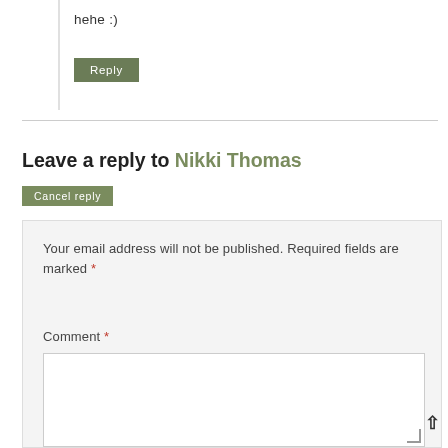hehe :)
Reply
Leave a reply to Nikki Thomas
Cancel reply
Your email address will not be published. Required fields are marked *
Comment *